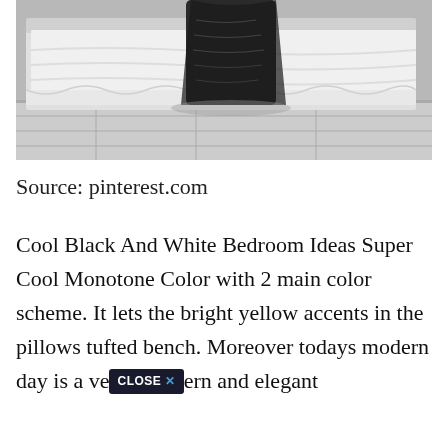[Figure (photo): Black and white photo of a bedroom with a dark draped garment or blanket hanging at the foot of a bed with white linens, white wooden floor visible.]
Source: pinterest.com
Cool Black And White Bedroom Ideas Super Cool Monotone Color with 2 main color scheme. It lets the bright yellow accents in the pillows tufted bench. Moreover todays modern day is a ve[CLOSE X]ern and elegant